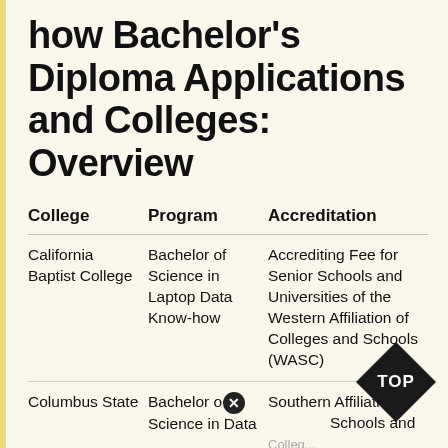how Bachelor's Diploma Applications and Colleges: Overview
| College | Program | Accreditation |
| --- | --- | --- |
| California Baptist College | Bachelor of Science in Laptop Data Know-how | Accrediting Fee for Senior Schools and Universities of the Western Affiliation of Colleges and Schools (WASC) |
| Columbus State | Bachelor of Science in Data | Southern Affiliation of Schools and Colleges D... |